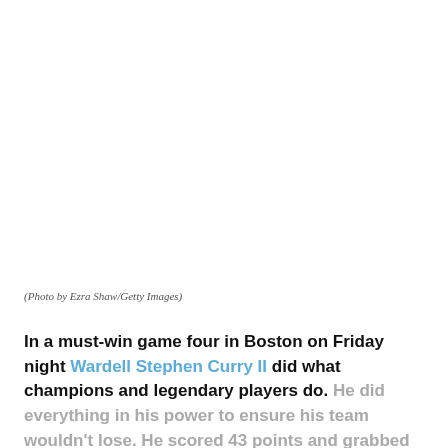[Figure (photo): Photo area (image not visible in this crop — white/blank area above caption)]
(Photo by Ezra Shaw/Getty Images)
In a must-win game four in Boston on Friday night Wardell Stephen Curry II did what champions and legendary players do. He did everything in his power to ensure his team wouldn't lose. He scored 43 points and grabbed 10 rebounds to tie the NBA Finals at two games apiece, making it a best